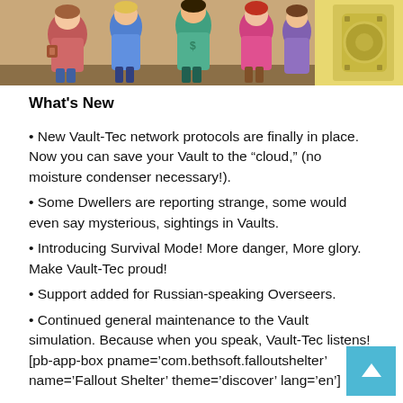[Figure (illustration): Cartoon/comic-style illustration of Fallout Shelter characters — vault dwellers in colorful outfits including a character in a pink coat, blue outfit, teal outfit, and a large yellow vault door shape on the right.]
What's New
New Vault-Tec network protocols are finally in place. Now you can save your Vault to the “cloud,” (no moisture condenser necessary!).
Some Dwellers are reporting strange, some would even say mysterious, sightings in Vaults.
Introducing Survival Mode! More danger, More glory. Make Vault-Tec proud!
Support added for Russian-speaking Overseers.
Continued general maintenance to the Vault simulation. Because when you speak, Vault-Tec listens! [pb-app-box pname='com.bethsoft.falloutshelter' name='Fallout Shelter' theme='discover' lang='en']